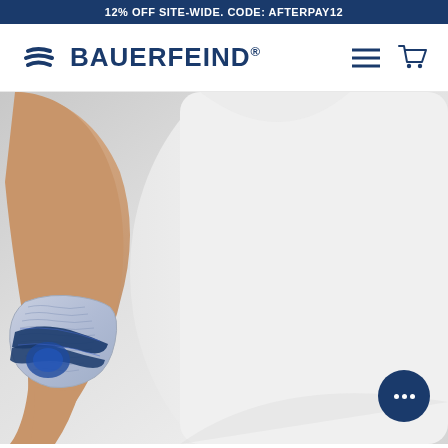12% OFF SITE-WIDE. CODE: AFTERPAY12
[Figure (logo): Bauerfeind logo with stylized B icon and brand name, plus hamburger menu and cart icons]
[Figure (photo): Person wearing a white athletic shirt and a Bauerfeind elbow support brace in grey and navy blue. The brace features a knitted support with blue strap and pad at the elbow joint. The arm is bent, showing the product from close up.]